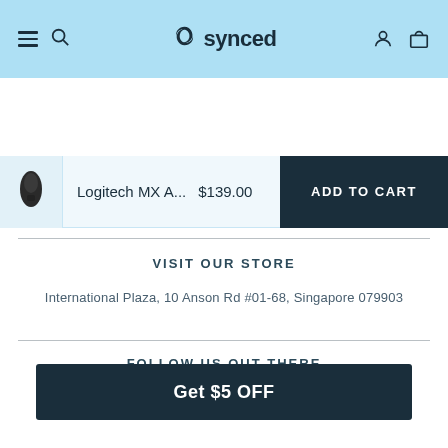synced
Logitech MX A...  $139.00  ADD TO CART
VISIT OUR STORE
International Plaza, 10 Anson Rd #01-68, Singapore 079903
FOLLOW US OUT THERE
Get $5 OFF